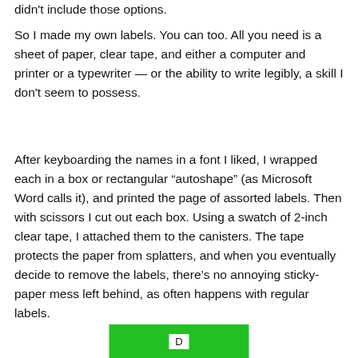didn't include those options.
So I made my own labels. You can too. All you need is a sheet of paper, clear tape, and either a computer and printer or a typewriter — or the ability to write legibly, a skill I don't seem to possess.
After keyboarding the names in a font I liked, I wrapped each in a box or rectangular “autoshape” (as Microsoft Word calls it), and printed the page of assorted labels. Then with scissors I cut out each box. Using a swatch of 2-inch clear tape, I attached them to the canisters. The tape protects the paper from splatters, and when you eventually decide to remove the labels, there’s no annoying sticky-paper mess left behind, as often happens with regular labels.
[Figure (other): Partially visible green button at the bottom of the page]